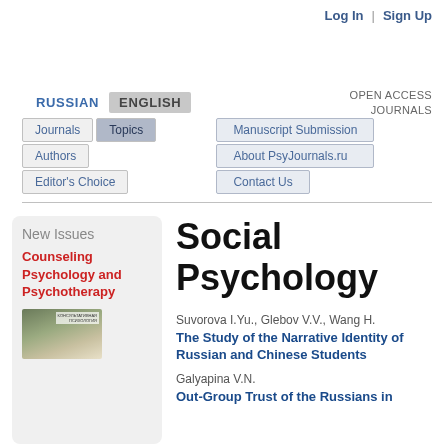Log In | Sign Up
OPEN ACCESS JOURNALS
RUSSIAN  ENGLISH
Journals  Topics  Authors  Editor's Choice  Manuscript Submission  About PsyJournals.ru  Contact Us
New Issues
Counseling Psychology and Psychotherapy
Social Psychology
Suvorova I.Yu., Glebov V.V., Wang H.
The Study of the Narrative Identity of Russian and Chinese Students
Galyapina V.N.
Out-Group Trust of the Russians in